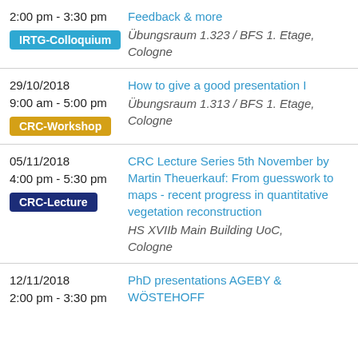| Date/Time/Type | Event/Location |
| --- | --- |
| 2:00 pm - 3:30 pm
IRTG-Colloquium | Feedback & more
Übungsraum 1.323 / BFS 1. Etage, Cologne |
| 29/10/2018
9:00 am - 5:00 pm
CRC-Workshop | How to give a good presentation I
Übungsraum 1.313 / BFS 1. Etage, Cologne |
| 05/11/2018
4:00 pm - 5:30 pm
CRC-Lecture | CRC Lecture Series 5th November by Martin Theuerkauf: From guesswork to maps - recent progress in quantitative vegetation reconstruction
HS XVIIb Main Building UoC, Cologne |
| 12/11/2018
2:00 pm - 3:30 pm | PhD presentations AGEBY & WÖSTEHOFF |